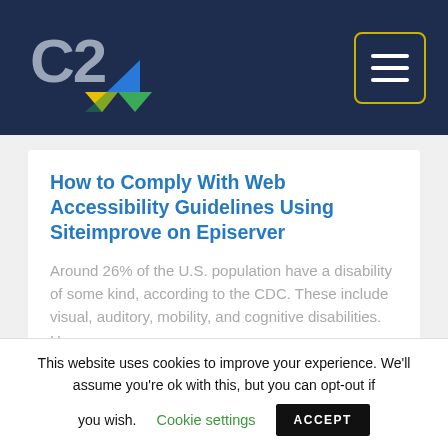C2 [logo] [hamburger menu button]
How to Comply With Web Accessibility Guidelines Using Siteimprove on Episerver
Around 26% of the U.S. population have a disability of some kind, according to the CDC. These include visual, auditory, mobility, and cognitive disabilities. However, ...
[Figure (photo): Partial view of a colorful banner image with blue and red/orange gradient background, showing partial text 'Optimizely']
This website uses cookies to improve your experience. We'll assume you're ok with this, but you can opt-out if you wish. Cookie settings  ACCEPT